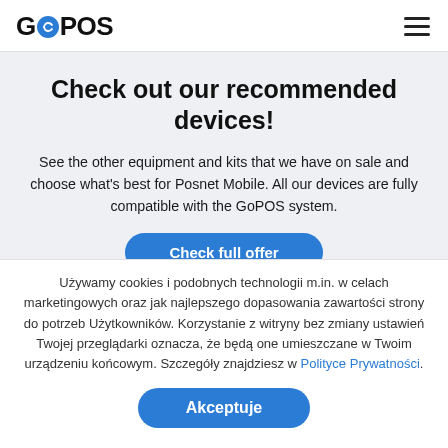GoPOS
Check out our recommended devices!
See the other equipment and kits that we have on sale and choose what's best for Posnet Mobile. All our devices are fully compatible with the GoPOS system.
Używamy cookies i podobnych technologii m.in. w celach marketingowych oraz jak najlepszego dopasowania zawartości strony do potrzeb Użytkowników. Korzystanie z witryny bez zmiany ustawień Twojej przeglądarki oznacza, że będą one umieszczane w Twoim urządzeniu końcowym. Szczegóły znajdziesz w Polityce Prywatności.
Akceptuje